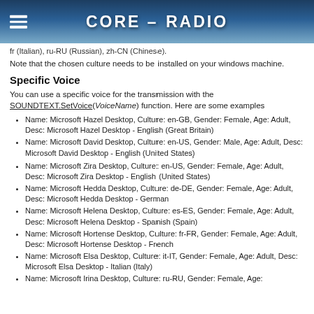CORE - RADIO
fr (Italian), ru-RU (Russian), zh-CN (Chinese).
Note that the chosen culture needs to be installed on your windows machine.
Specific Voice
You can use a specific voice for the transmission with the SOUNDTEXT.SetVoice(VoiceName) function. Here are some examples
Name: Microsoft Hazel Desktop, Culture: en-GB, Gender: Female, Age: Adult, Desc: Microsoft Hazel Desktop - English (Great Britain)
Name: Microsoft David Desktop, Culture: en-US, Gender: Male, Age: Adult, Desc: Microsoft David Desktop - English (United States)
Name: Microsoft Zira Desktop, Culture: en-US, Gender: Female, Age: Adult, Desc: Microsoft Zira Desktop - English (United States)
Name: Microsoft Hedda Desktop, Culture: de-DE, Gender: Female, Age: Adult, Desc: Microsoft Hedda Desktop - German
Name: Microsoft Helena Desktop, Culture: es-ES, Gender: Female, Age: Adult, Desc: Microsoft Helena Desktop - Spanish (Spain)
Name: Microsoft Hortense Desktop, Culture: fr-FR, Gender: Female, Age: Adult, Desc: Microsoft Hortense Desktop - French
Name: Microsoft Elsa Desktop, Culture: it-IT, Gender: Female, Age: Adult, Desc: Microsoft Elsa Desktop - Italian (Italy)
Name: Microsoft Irina Desktop, Culture: ru-RU, Gender: Female, Age: